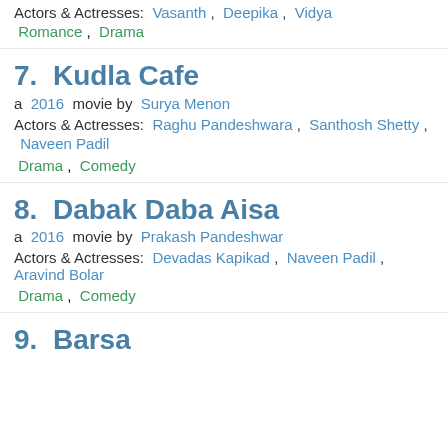Actors & Actresses: Vasanth, Deepika, Vidya
Romance, Drama
7. Kudla Cafe
a 2016 movie by Surya Menon
Actors & Actresses: Raghu Pandeshwara, Santhosh Shetty, Naveen Padil
Drama, Comedy
8. Dabak Daba Aisa
a 2016 movie by Prakash Pandeshwar
Actors & Actresses: Devadas Kapikad, Naveen Padil, Aravind Bolar
Drama, Comedy
9. Barsa